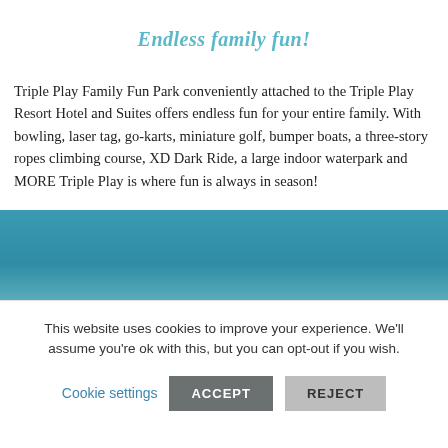Endless family fun!
Triple Play Family Fun Park conveniently attached to the Triple Play Resort Hotel and Suites offers endless fun for your entire family. With bowling, laser tag, go-karts, miniature golf, bumper boats, a three-story ropes climbing course, XD Dark Ride, a large indoor waterpark and MORE Triple Play is where fun is always in season!
[Figure (other): Teal/blue decorative banner strip]
This website uses cookies to improve your experience. We'll assume you're ok with this, but you can opt-out if you wish.
Cookie settings   ACCEPT   REJECT